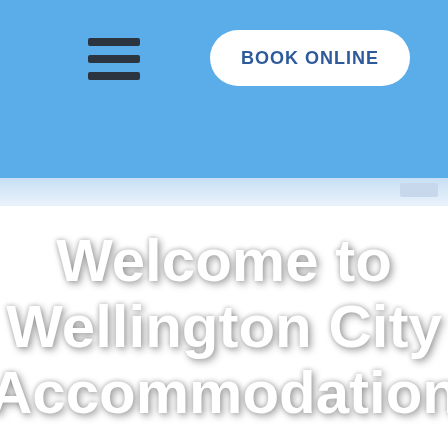[Figure (screenshot): Website header navigation bar with hamburger menu icon and a 'BOOK ONLINE' button on a blue background]
Welcome to Wellington City Accommodation